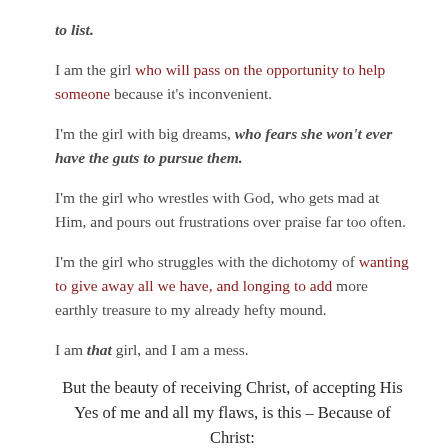to list.
I am the girl who will pass on the opportunity to help someone because it's inconvenient.
I'm the girl with big dreams, who fears she won't ever have the guts to pursue them.
I'm the girl who wrestles with God, who gets mad at Him, and pours out frustrations over praise far too often.
I'm the girl who struggles with the dichotomy of wanting to give away all we have, and longing to add more earthly treasure to my already hefty mound.
I am that girl, and I am a mess.
But the beauty of receiving Christ, of accepting His Yes of me and all my flaws, is this – Because of Christ:
I am humble and repentant when I fail. I'm quick to ask